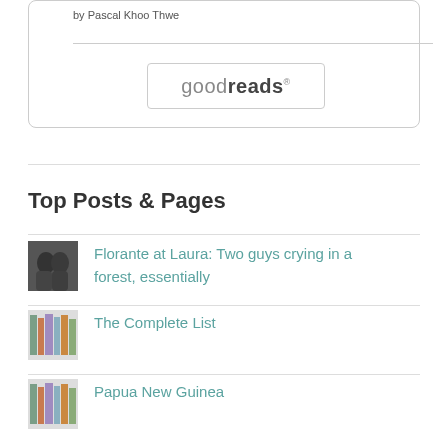by Pascal Khoo Thwe
[Figure (logo): Goodreads logo button with border]
Top Posts & Pages
[Figure (photo): Small thumbnail of two figures, black and white]
Florante at Laura: Two guys crying in a forest, essentially
[Figure (photo): Small thumbnail of colorful books on a shelf]
The Complete List
[Figure (photo): Small thumbnail of colorful books on a shelf]
Papua New Guinea